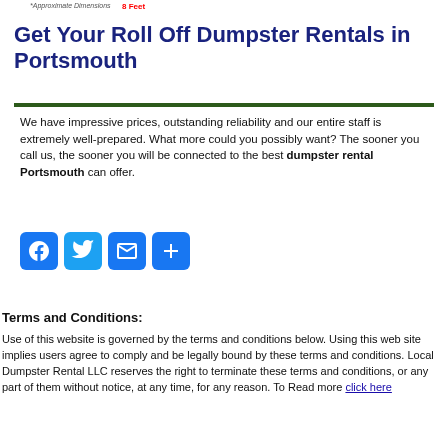*Approximate Dimensions    8 Feet
Get Your Roll Off Dumpster Rentals in Portsmouth
We have impressive prices, outstanding reliability and our entire staff is extremely well-prepared. What more could you possibly want? The sooner you call us, the sooner you will be connected to the best dumpster rental Portsmouth can offer.
[Figure (other): Social media sharing icons: Facebook, Twitter, Email, Share]
Terms and Conditions:
Use of this website is governed by the terms and conditions below. Using this web site implies users agree to comply and be legally bound by these terms and conditions. Local Dumpster Rental LLC reserves the right to terminate these terms and conditions, or any part of them without notice, at any time, for any reason. To Read more click here